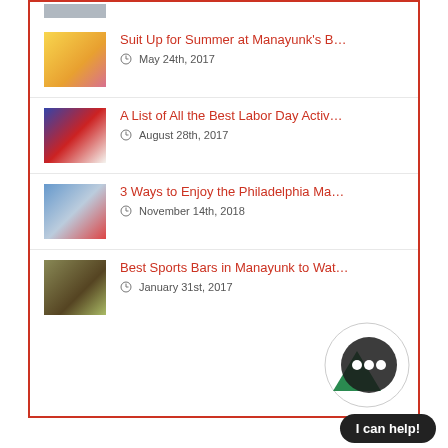Suit Up for Summer at Manayunk's B… — May 24th, 2017
A List of All the Best Labor Day Activ… — August 28th, 2017
3 Ways to Enjoy the Philadelphia Ma… — November 14th, 2018
Best Sports Bars in Manayunk to Wat… — January 31st, 2017
[Figure (other): Chatbot widget with green triangle logo and three dots, with 'I can help!' button]
I can help!